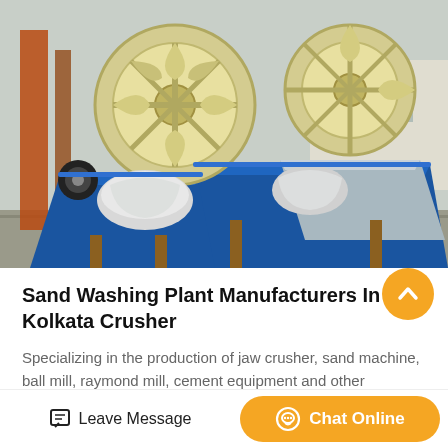[Figure (photo): Industrial sand washing plant / wheel sand washer machine in blue and yellow/cream colors, photographed outdoors at a manufacturing facility. Large wheel-type sand washing equipment with blue metal trough and yellow spiral wheels.]
Sand Washing Plant Manufacturers In Kolkata Crusher
Specializing in the production of jaw crusher, sand machine, ball mill, raymond mill, cement equipment and other products. the n
Leave Message
Chat Online